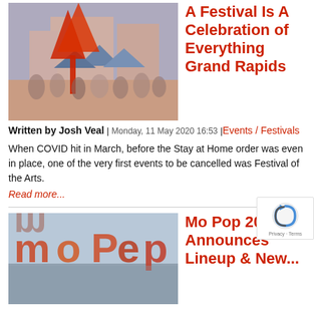[Figure (photo): Outdoor festival scene with red sculpture and crowd and blue tents]
A Festival Is A Celebration of Everything Grand Rapids
Written by Josh Veal | Monday, 11 May 2020 16:53 |Events / Festivals
When COVID hit in March, before the Stay at Home order was even in place, one of the very first events to be cancelled was Festival of the Arts.
Read more...
[Figure (photo): Mo Pop sign letters in large colorful 3D letters near water]
Mo Pop 2020 Announces Lineup & New...